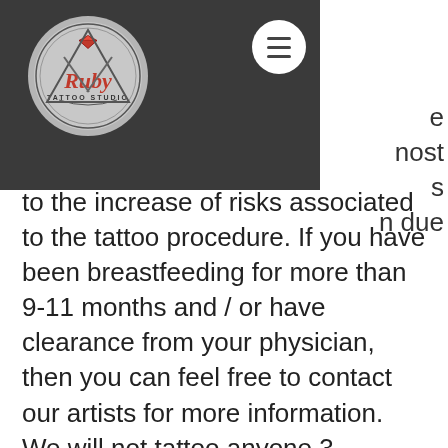[Figure (logo): Ruby Tattoo Studio circular logo with diamond gem and decorative border on dark gray header background]
e most s n due to the increase of risks associated to the tattoo procedure. If you have been breastfeeding for more than 9-11 months and / or have clearance from your physician, then you can feel free to contact our artists for more information. We will not tattoo anyone 3 months post delivery, and recommend waiting at least 6 months after giving birth before getting tattooed as giving birth takes a toll on the body and